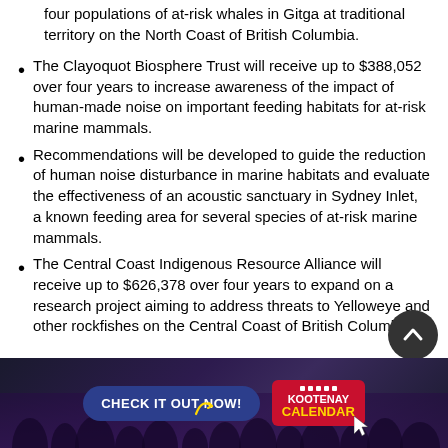four populations of at-risk whales in Gitga at traditional territory on the North Coast of British Columbia.
The Clayoquot Biosphere Trust will receive up to $388,052 over four years to increase awareness of the impact of human-made noise on important feeding habitats for at-risk marine mammals.
Recommendations will be developed to guide the reduction of human noise disturbance in marine habitats and evaluate the effectiveness of an acoustic sanctuary in Sydney Inlet, a known feeding area for several species of at-risk marine mammals.
The Central Coast Indigenous Resource Alliance will receive up to $626,378 over four years to expand on a research project aiming to address threats to Yelloweye and other rockfishes on the Central Coast of British Columbia.
[Figure (photo): Advertisement banner: CHECK IT OUT NOW! Kootenay Calendar, with crowd silhouette background]